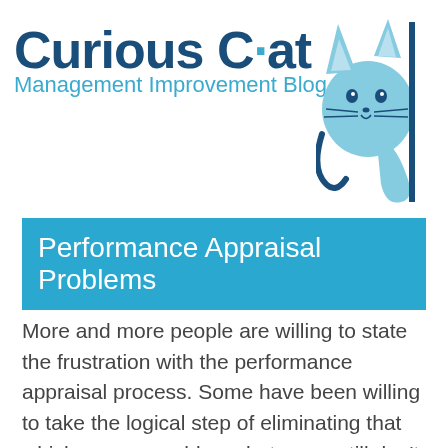[Figure (logo): Curious Cat Management Improvement Blog logo with cat illustration and text]
Performance Appraisal Problems
More and more people are willing to state the frustration with the performance appraisal process. Some have been willing to take the logical step of eliminating that which causes problems but many still don't